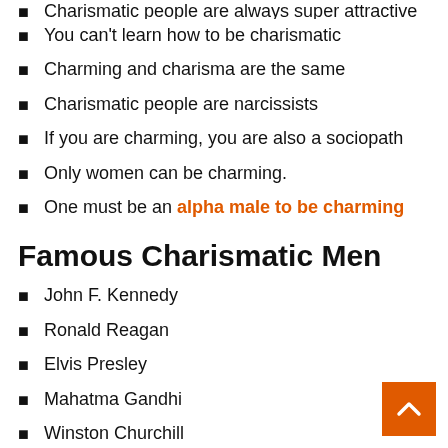Charismatic people are always super attractive
You can't learn how to be charismatic
Charming and charisma are the same
Charismatic people are narcissists
If you are charming, you are also a sociopath
Only women can be charming.
One must be an alpha male to be charming
Famous Charismatic Men
John F. Kennedy
Ronald Reagan
Elvis Presley
Mahatma Gandhi
Winston Churchill
Martin Luther King